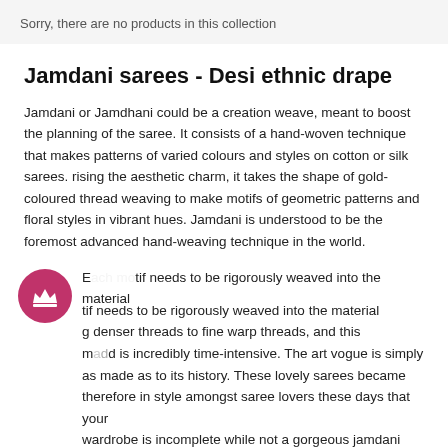Sorry, there are no products in this collection
Jamdani sarees - Desi ethnic drape
Jamdani or Jamdhani could be a creation weave, meant to boost the planning of the saree. It consists of a hand-woven technique that makes patterns of varied colours and styles on cotton or silk sarees. rising the aesthetic charm, it takes the shape of gold-coloured thread weaving to make motifs of geometric patterns and floral styles in vibrant hues. Jamdani is understood to be the foremost advanced hand-weaving technique in the world.
E... tif needs to be rigorously weaved into the material ...g denser threads to fine warp threads, and this ma...d is incredibly time-intensive. The art vogue is simply as made as to its history. These lovely sarees became therefore in style amongst saree lovers these days that your wardrobe is incomplete while not a gorgeous jamdani